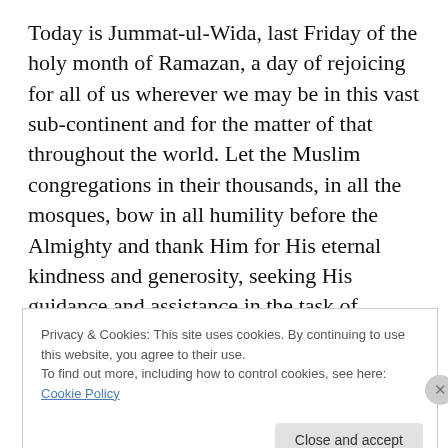Today is Jummat-ul-Wida, last Friday of the holy month of Ramazan, a day of rejoicing for all of us wherever we may be in this vast sub-continent and for the matter of that throughout the world. Let the Muslim congregations in their thousands, in all the mosques, bow in all humility before the Almighty and thank Him for His eternal kindness and generosity, seeking His guidance and assistance in the task of making Pakistan into a great State and themselves into its worthy citizens.
Privacy & Cookies: This site uses cookies. By continuing to use this website, you agree to their use. To find out more, including how to control cookies, see here: Cookie Policy